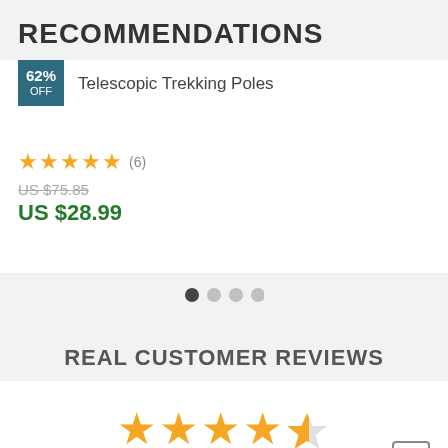RECOMMENDATIONS
62% OFF
Telescopic Trekking Poles
★★★★★ (6)
US $75.85
US $28.99
[Figure (other): Carousel pagination dots: 4 dots, first is dark (active), rest are light grey]
REAL CUSTOMER REVIEWS
[Figure (other): 5-star rating display: 4 full gold stars and 1 half gold star (large size)]